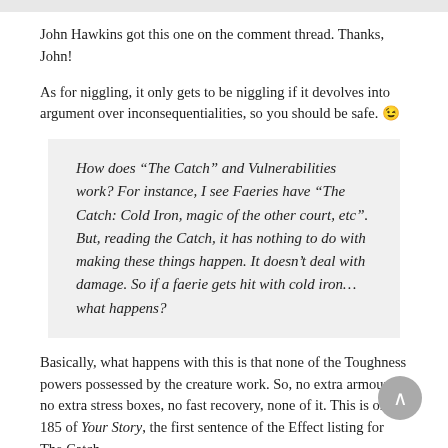John Hawkins got this one on the comment thread. Thanks, John!
As for niggling, it only gets to be niggling if it devolves into argument over inconsequentialities, so you should be safe. 😉
How does “The Catch” and Vulnerabilities work? For instance, I see Faeries have “The Catch: Cold Iron, magic of the other court, etc”. But, reading the Catch, it has nothing to do with making these things happen. It doesn’t deal with damage. So if a faerie gets hit with cold iron… what happens?
Basically, what happens with this is that none of the Toughness powers possessed by the creature work. So, no extra armour, no extra stress boxes, no fast recovery, none of it. This is on p 185 of Your Story, the first sentence of the Effect listing for The Catch.